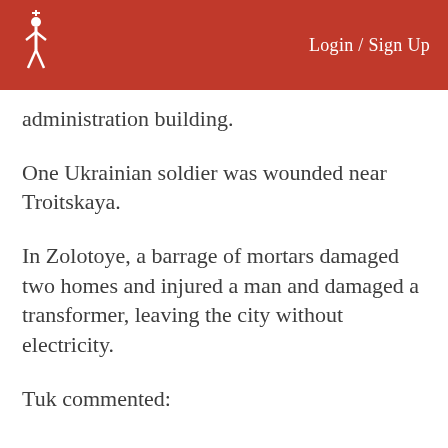Login / Sign Up
administration building.
One Ukrainian soldier was wounded near Troitskaya.
In Zolotoye, a barrage of mortars damaged two homes and injured a man and damaged a transformer, leaving the city without electricity.
Tuk commented: